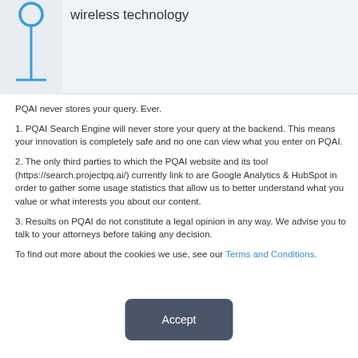[Figure (illustration): PQAI logo icon showing a stylized antenna/pin shape in blue on a light gray background header area]
wireless technology
PQAI never stores your query. Ever.
1. PQAI Search Engine will never store your query at the backend. This means your innovation is completely safe and no one can view what you enter on PQAI.
2. The only third parties to which the PQAI website and its tool (https://search.projectpq.ai/) currently link to are Google Analytics & HubSpot in order to gather some usage statistics that allow us to better understand what you value or what interests you about our content.
3. Results on PQAI do not constitute a legal opinion in any way. We advise you to talk to your attorneys before taking any decision.
To find out more about the cookies we use, see our Terms and Conditions.